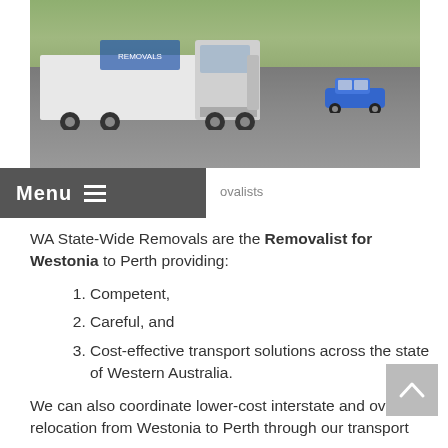[Figure (photo): A white moving truck on a suburban street with trees and a blue car in the background.]
Menu  ≡  ovalists
WA State-Wide Removals are the Removalist for Westonia to Perth providing:
1. Competent,
2. Careful, and
3. Cost-effective transport solutions across the state of Western Australia.
We can also coordinate lower-cost interstate and overseas relocation from Westonia to Perth through our transport